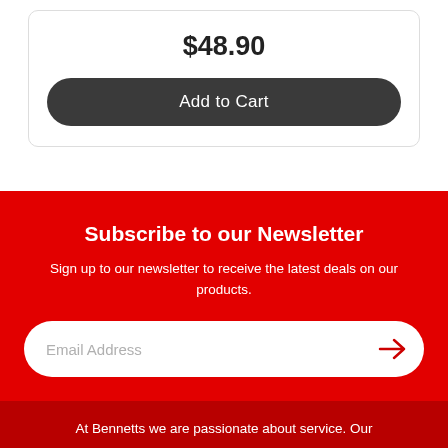$48.90
Add to Cart
Subscribe to our Newsletter
Sign up to our newsletter to receive the latest deals on our products.
Email Address
At Bennetts we are passionate about service. Our